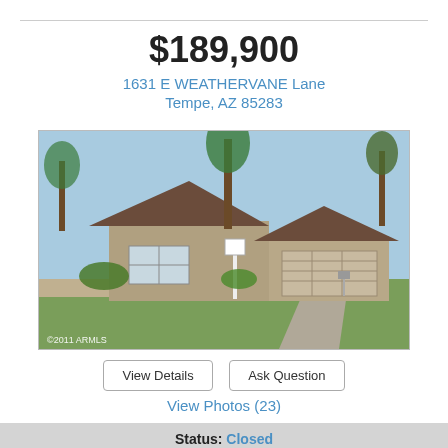$189,900
1631 E WEATHERVANE Lane
Tempe, AZ 85283
[Figure (photo): Exterior photo of a single-story ranch-style home with a two-car garage, brown roof, beige stucco walls, palm trees, green lawn, and a for-sale sign in the front yard. Copyright 2011 ARMLS watermark in lower left.]
View Details
Ask Question
View Photos (23)
Status: Closed
# of Bedrooms: 3